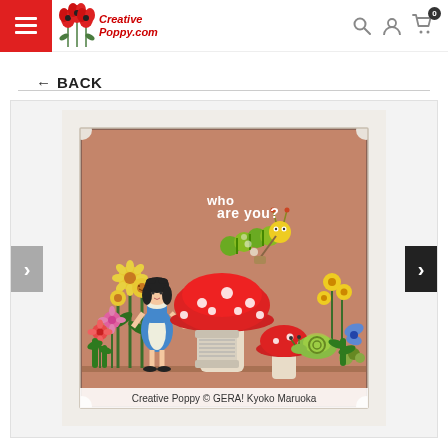Creative Poppy.com — navigation header with hamburger menu, search, account, and cart icons (0 items)
← BACK
[Figure (photo): Framed cross-stitch embroidery artwork in a white ornate frame depicting an Alice in Wonderland scene with Alice, a caterpillar on a red mushroom, flowers, and snail, with text 'who are you?' on terracotta/salmon colored fabric background. Caption reads: Creative Poppy © GERA! Kyoko Maruoka]